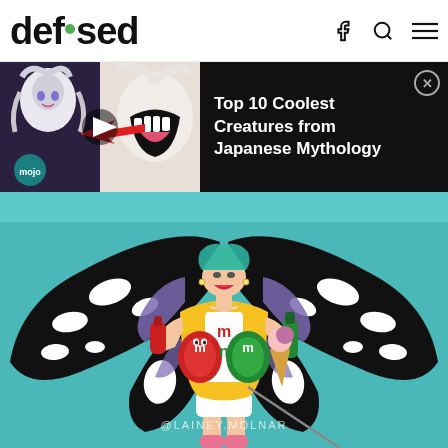defused
[Figure (screenshot): Ad banner showing anime creature video thumbnail on the left (WatchMojo style) with red arrow pointing to creature mouth, mojo logo, play button overlay. Right panel is black with text: Top 10 Coolest Creatures from Japanese Mythology, with close X button.]
Top 10 Coolest Creatures from Japanese Mythology
[Figure (illustration): Digital illustration of a woman with butterfly wings (black, white and purple monarch-style wings), wearing a yellow M&M branded jacket holding red and green M&M bottles/cans, with teal background. Watermark: @LAINEY.MOLNAR]